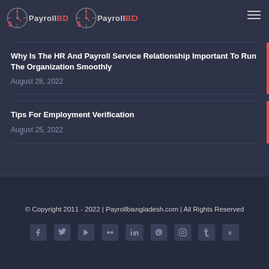PayrollBD PayrollBD
Why Is The HR And Payroll Service Relationship Important To Run The Organization Smoothly
August 28, 2022
Tips For Employment Verification
August 25, 2022
© Copyright 2011 - 2022 | Payrollbangladesh.com | All Rights Reserved